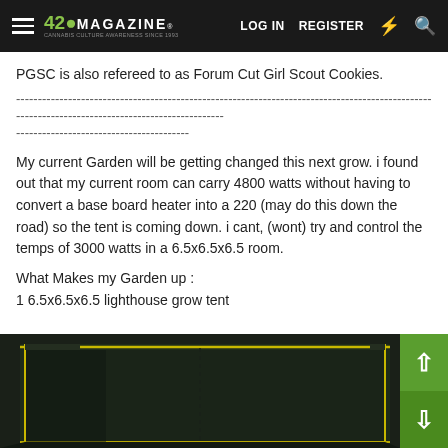420 MAGAZINE® | LOG IN | REGISTER
PGSC is also refereed to as Forum Cut Girl Scout Cookies.
--------------------------------------------------------------------------------------------------------------------------------------------------------------------------------------------------------
My current Garden will be getting changed this next grow. i found out that my current room can carry 4800 watts without having to convert a base board heater into a 220 (may do this down the road) so the tent is coming down. i cant, (wont) try and control the temps of 3000 watts in a 6.5x6.5x6.5 room.
What Makes my Garden up :
1 6.5x6.5x6.5 lighthouse grow tent
[Figure (photo): Dark green grow tent with yellow trim visible at top, photographed from a low angle]